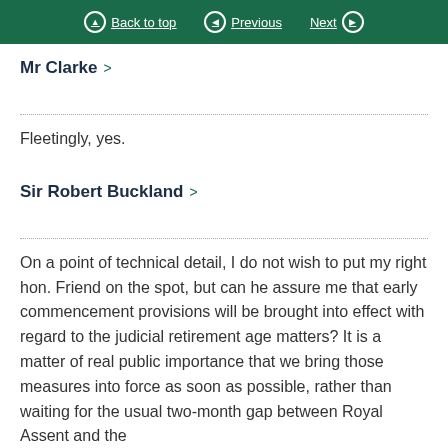Back to top   Previous   Next
Mr Clarke >
Fleetingly, yes.
Sir Robert Buckland >
On a point of technical detail, I do not wish to put my right hon. Friend on the spot, but can he assure me that early commencement provisions will be brought into effect with regard to the judicial retirement age matters? It is a matter of real public importance that we bring those measures into force as soon as possible, rather than waiting for the usual two-month gap between Royal Assent and the coming into effect. So he gives me that…